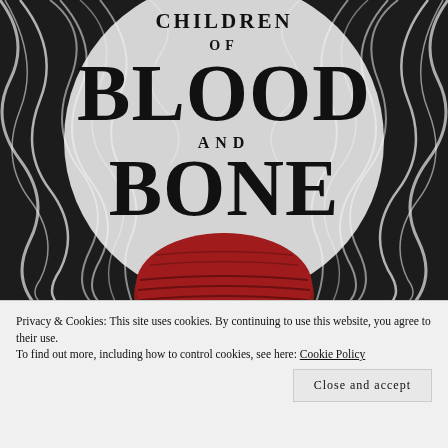[Figure (illustration): Book cover of 'Children of Blood and Bone' showing bold black title text over a swirling white hair/smoke background with a red sphere (head) at the bottom center.]
Privacy & Cookies: This site uses cookies. By continuing to use this website, you agree to their use.
To find out more, including how to control cookies, see here: Cookie Policy
Close and accept